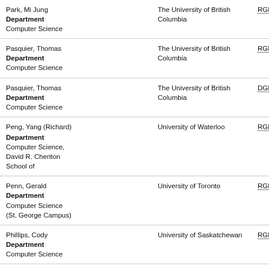| Name / Department | Institution | Grant |
| --- | --- | --- |
| Park, Mi Jung
Department
Computer Science | The University of British Columbia | RGPIN |
| Pasquier, Thomas
Department
Computer Science | The University of British Columbia | RGPIN |
| Pasquier, Thomas
Department
Computer Science | The University of British Columbia | DGECR |
| Peng, Yang (Richard)
Department
Computer Science, David R. Cheriton School of | University of Waterloo | RGPIN |
| Penn, Gerald
Department
Computer Science (St. George Campus) | University of Toronto | RGPIN |
| Phillips, Cody
Department
Computer Science | University of Saskatchewan | RGPIN |
| Phillips, Cody
Department
Computer Science | University of Saskatchewan | DGECR |
| Pientka, Brigitte
Department
Computer Science, School of | McGill University | RGPIN |